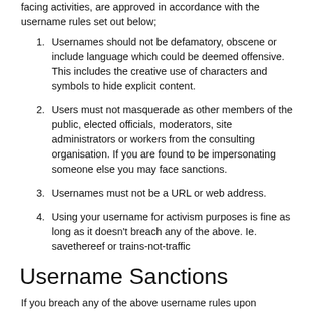facing activities, are approved in accordance with the username rules set out below;
Usernames should not be defamatory, obscene or include language which could be deemed offensive. This includes the creative use of characters and symbols to hide explicit content.
Users must not masquerade as other members of the public, elected officials, moderators, site administrators or workers from the consulting organisation. If you are found to be impersonating someone else you may face sanctions.
Usernames must not be a URL or web address.
Using your username for activism purposes is fine as long as it doesn't breach any of the above. Ie. savethereef or trains-not-traffic
Username Sanctions
If you breach any of the above username rules upon